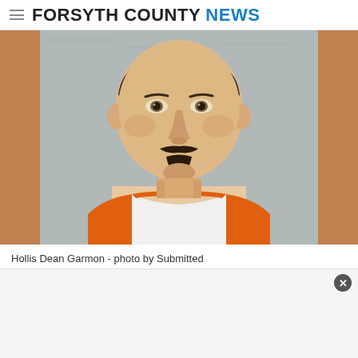FORSYTH COUNTY NEWS
[Figure (photo): Mugshot of Hollis Dean Garmon, a middle-aged white male with dark hair, mustache and goatee, wearing an orange prison jumpsuit over a white t-shirt, photographed against a gray textured wall.]
Hollis Dean Garmon - photo by Submitted
Julie Arrington